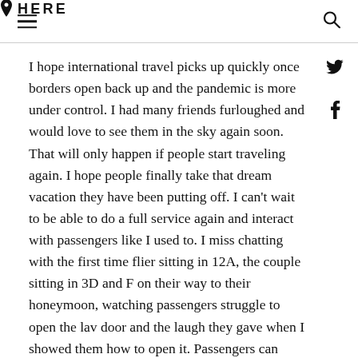HERE
I hope international travel picks up quickly once borders open back up and the pandemic is more under control. I had many friends furloughed and would love to see them in the sky again soon. That will only happen if people start traveling again. I hope people finally take that dream vacation they have been putting off. I can’t wait to be able to do a full service again and interact with passengers like I used to. I miss chatting with the first time flier sitting in 12A, the couple sitting in 3D and F on their way to their honeymoon, watching passengers struggle to open the lav door and the laugh they gave when I showed them how to open it. Passengers can make this job stressful, but